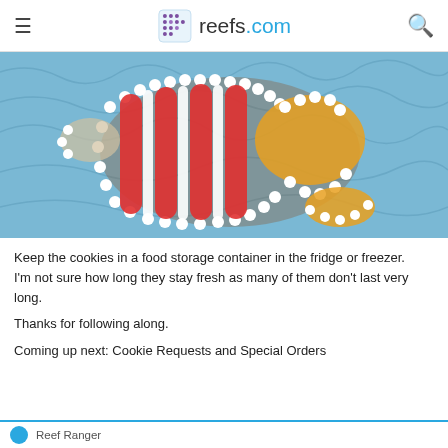reefs.com
[Figure (photo): A decorative cake or cookie shaped like a fish/clownfish, decorated with red, white, and yellow frosting rosettes on a blue crinkled paper background.]
Keep the cookies in a food storage container in the fridge or freezer.
I'm not sure how long they stay fresh as many of them don't last very long.
Thanks for following along.
Coming up next: Cookie Requests and Special Orders
Reef Ranger